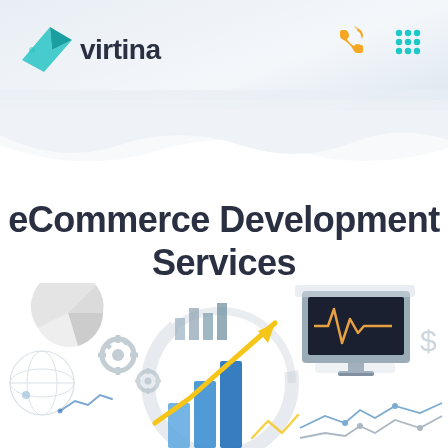[Figure (logo): Virtina logo with teal arrow/paper-plane icon and dark text 'virtina']
[Figure (infographic): eCommerce analytics illustration with bar charts, pie chart, line graphs, gears, monitor with heartbeat line, dollar sign, and upward trending arrows in blue and yellow]
eCommerce Development Services